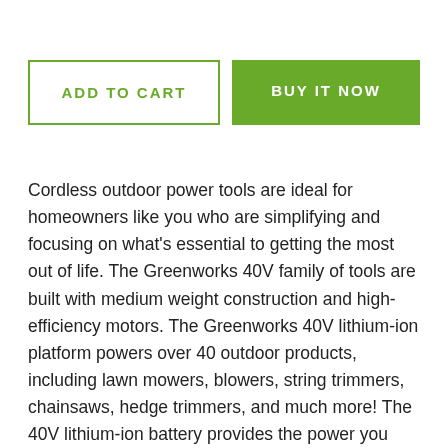ADD TO CART
BUY IT NOW
Cordless outdoor power tools are ideal for homeowners like you who are simplifying and focusing on what’s essential to getting the most out of life. The Greenworks 40V family of tools are built with medium weight construction and high-efficiency motors. The Greenworks 40V lithium-ion platform powers over 40 outdoor products, including lawn mowers, blowers, string trimmers, chainsaws, hedge trimmers, and much more! The 40V lithium-ion battery provides the power you need, and delivers fade-free power with no memory loss after charging. The Greenworks 40V platform comes with a 3 year tool / battery warranty to protect your investment. Of